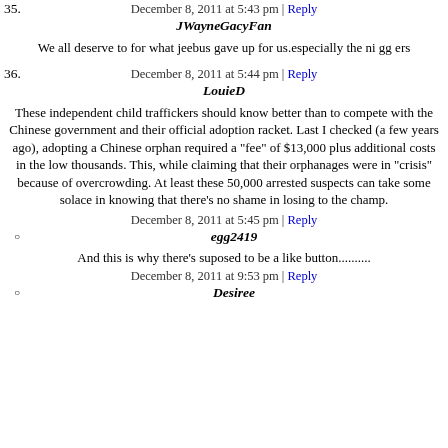December 8, 2011 at 5:43 pm | Reply
35. JWayneGacyFan
We all deserve to for what jeebus gave up for us.especially the ni gg ers
December 8, 2011 at 5:44 pm | Reply
36. LouieD
These independent child traffickers should know better than to compete with the Chinese government and their official adoption racket. Last I checked (a few years ago), adopting a Chinese orphan required a "fee" of $13,000 plus additional costs in the low thousands. This, while claiming that their orphanages were in "crisis" because of overcrowding. At least these 50,000 arrested suspects can take some solace in knowing that there's no shame in losing to the champ.
December 8, 2011 at 5:45 pm | Reply
egg2419
And this is why there's suposed to be a like button..........
December 8, 2011 at 9:53 pm | Reply
Desiree